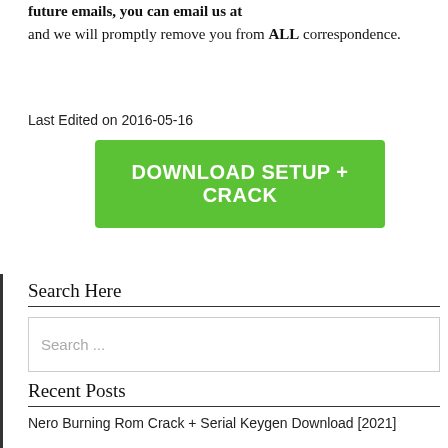future emails, you can email us at and we will promptly remove you from ALL correspondence.
Last Edited on 2016-05-16
[Figure (other): Green download button with white bold text reading 'DOWNLOAD SETUP + CRACK']
Search Here
[Figure (other): Search input box with placeholder text 'Search ...']
Recent Posts
Nero Burning Rom Crack + Serial Keygen Download [2021]